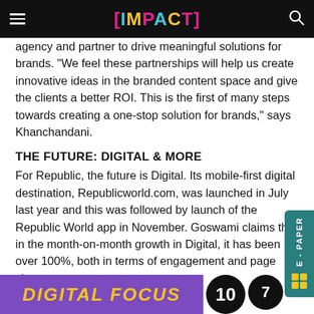[IMPACT]
agency and partner to drive meaningful solutions for brands. “We feel these partnerships will help us create innovative ideas in the branded content space and give the clients a better ROI. This is the first of many steps towards creating a one-stop solution for brands,” says Khanchandani.
THE FUTURE: DIGITAL & MORE
For Republic, the future is Digital. Its mobile-first digital destination, Republicworld.com, was launched in July last year and this was followed by launch of the Republic World app in November. Goswami claims that in the month-on-month growth in Digital, it has been over 100%, both in terms of engagement and page views.
[Figure (infographic): Bottom banner with purple background showing 'DIGITAL FOCUS' text in yellow italic bold font, followed by dark circular badges with numbers 10 and 7]